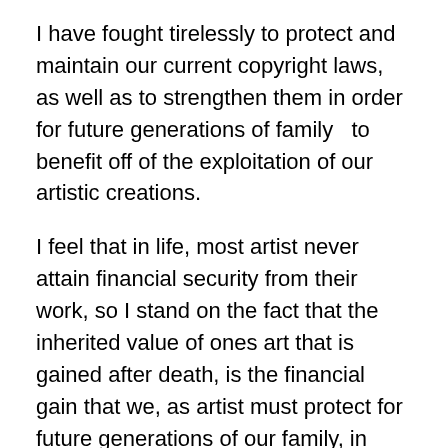I have fought tirelessly to protect and maintain our current copyright laws, as well as to strengthen them in order for future generations of family  to benefit off of the exploitation of our artistic creations.
I feel that in life, most artist never attain financial security from their work, so I stand on the fact that the inherited value of ones art that is gained after death, is the financial gain that we, as artist must protect for future generations of our family, in perpetuity.
The downside of that , are nefarious lawsuits such as this one, that appear to be an attempt to loosely tie in a phrase of words, into an infringement case.The standard of substantial similarity is clear, and any competent attorney could connect the dots of what is actually a protected element in a creation, and what is not, quite easily, before